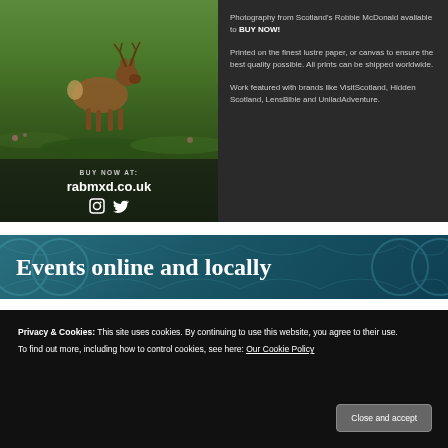[Figure (photo): Photography advertisement banner with a deer/stag photo on the left side against a Scottish highland landscape, and promotional text on the right. Dark background with website URL rabmxd.co.uk and social media icons.]
BUY NOW AT:
rabmxd.co.uk
Photography from Scotland's Robbie McDonald available to BUY NOW!

Printed on the finest lustre paper, or canvas to ensure the best quality possible. All prints can be shipped worldwide.

Work featured with brands like VisitScotland, Hidden Scotland, LensBible and UniladAdventure.
[Figure (illustration): Decorative banner with teal/dark blue background and ornamental pattern showing 'Events online and locally' in large serif white font]
Privacy & Cookies: This site uses cookies. By continuing to use this website, you agree to their use.
To find out more, including how to control cookies, see here: Our Cookie Policy